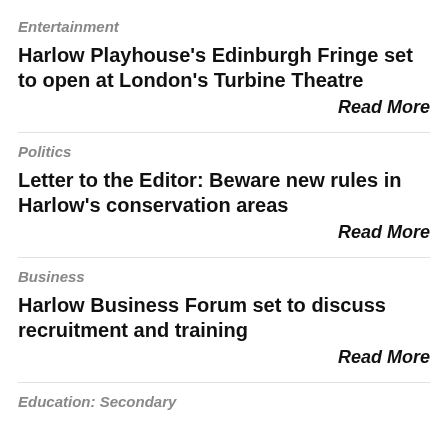Entertainment
Harlow Playhouse's Edinburgh Fringe set to open at London's Turbine Theatre
Read More
Politics
Letter to the Editor: Beware new rules in Harlow's conservation areas
Read More
Business
Harlow Business Forum set to discuss recruitment and training
Read More
Education: Secondary